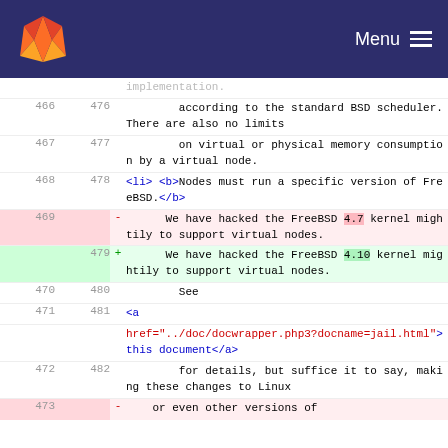GitLab — Menu
| old | new | sign | code |
| --- | --- | --- | --- |
|  |  |  | implementation. |
| 466 | 476 |  |     according to the standard BSD scheduler.  There are also no limits |
| 467 | 477 |  |     on virtual or physical memory consumption by a virtual node. |
| 468 | 478 |  | <li> <b>Nodes must run a specific version of FreeBSD.</b> |
| 469 |  | - |       We have hacked the FreeBSD 4.7 kernel mightily to support virtual nodes. |
|  | 479 | + |       We have hacked the FreeBSD 4.10 kernel mightily to support virtual nodes. |
| 470 | 480 |  |         See |
| 471 | 481 |  |         <a |
|  |  |  | href="../doc/docwrapper.php3?docname=jail.html">this document</a> |
| 472 | 482 |  |         for details, but suffice it to say, making these changes to Linux |
| 473 |  | - | or even other versions of |